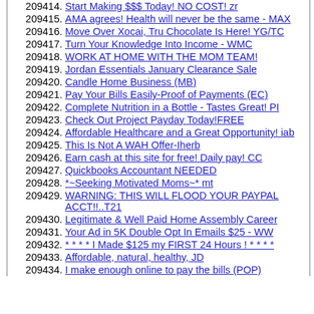209414. Start Making $$$ Today! NO COST! zr
209415. AMA agrees! Health will never be the same - MAX
209416. Move Over Xocai, Tru Chocolate Is Here! YG/TC
209417. Turn Your Knowledge Into Income - WMC
209418. WORK AT HOME WITH THE MOM TEAM!
209419. Jordan Essentials January Clearance Sale
209420. Candle Home Business (MB)
209421. Pay Your Bills Easily-Proof of Payments (EC)
209422. Complete Nutrition in a Bottle - Tastes Great! PI
209423. Check Out Project Payday Today!FREE
209424. Affordable Healthcare and a Great Opportunity! iab
209425. This Is Not A WAH Offer-Iherb
209426. Earn cash at this site for free! Daily pay! CC
209427. Quickbooks Accountant NEEDED
209428. *~Seeking Motivated Moms~* mt
209429. WARNING: THIS WILL FLOOD YOUR PAYPAL ACCT!!..T21
209430. Legitimate & Well Paid Home Assembly Career
209431. Your Ad in 5K Double Opt In Emails $25 - WW
209432. * * * * I Made $125 my FIRST 24 Hours ! * * * *
209433. Affordable, natural, healthy, JD
209434. I make enough online to pay the bills (POP)